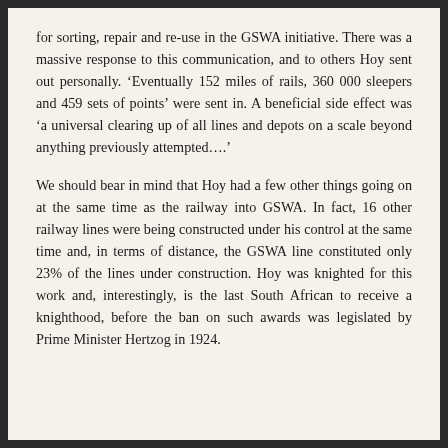for sorting, repair and re-use in the GSWA initiative. There was a massive response to this communication, and to others Hoy sent out personally. 'Eventually 152 miles of rails, 360 000 sleepers and 459 sets of points' were sent in. A beneficial side effect was 'a universal clearing up of all lines and depots on a scale beyond anything previously attempted….'
We should bear in mind that Hoy had a few other things going on at the same time as the railway into GSWA. In fact, 16 other railway lines were being constructed under his control at the same time and, in terms of distance, the GSWA line constituted only 23% of the lines under construction. Hoy was knighted for this work and, interestingly, is the last South African to receive a knighthood, before the ban on such awards was legislated by Prime Minister Hertzog in 1924.